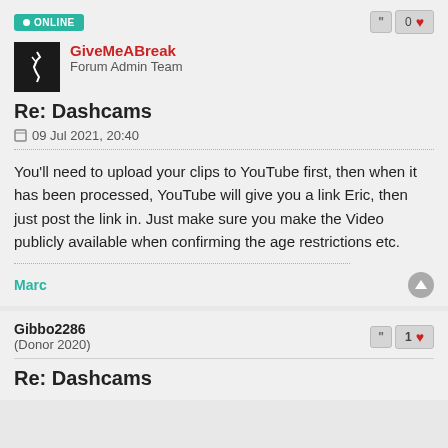ONLINE
[Figure (photo): User avatar for GiveMeABreak showing a hand gesture on dark background]
GiveMeABreak
Forum Admin Team
Re: Dashcams
09 Jul 2021, 20:40
You'll need to upload your clips to YouTube first, then when it has been processed, YouTube will give you a link Eric, then just post the link in. Just make sure you make the Video publicly available when confirming the age restrictions etc.
Marc
Gibbo2286
(Donor 2020)
1
Re: Dashcams